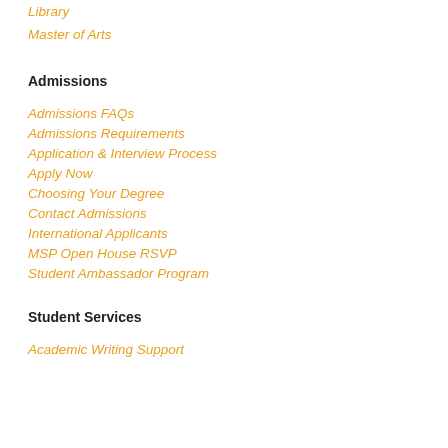Library
Master of Arts
Admissions
Admissions FAQs
Admissions Requirements
Application & Interview Process
Apply Now
Choosing Your Degree
Contact Admissions
International Applicants
MSP Open House RSVP
Student Ambassador Program
Student Services
Academic Writing Support